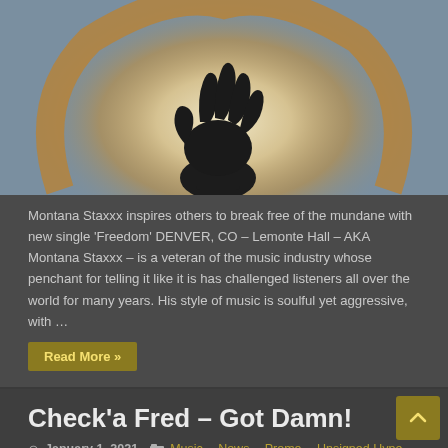[Figure (photo): Silhouette of a hand reaching upward toward a glowing light source with warm orange/beige circular halo against a blue-grey background]
Montana Staxxx inspires others to break free of the mundane with new single ‘Freedom’  DENVER, CO – Lemonte Hall – AKA Montana Staxxx – is a veteran of the music industry whose penchant for telling it like it is has challenged listeners all over the world for many years. His style of music is soulful yet aggressive, with …
Read More »
Check’a Fred – Got Damn!
January 1, 2021   Music, News, Promo, Unsigned Hype   0
[Figure (photo): Partial view of a music-related image, dark tones with colorful elements visible at the bottom of the page]